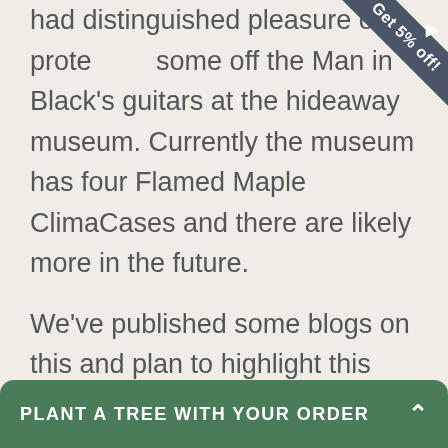had distinguished pleasure of protecting some off the Man in Black's guitars at the hideaway museum.  Currently the museum has four Flamed Maple ClimaCases and there are likely more in the future.
We've published some blogs on this and plan to highlight this monumental accomplishment for AR in more ways than one.  Here's a couple links to videos shot at the museum.  See if you can spot the ClimaCases hanging on the walls of the museum, including one stage right holding Johnny's guitar on the s
PLANT A TREE WITH YOUR ORDER